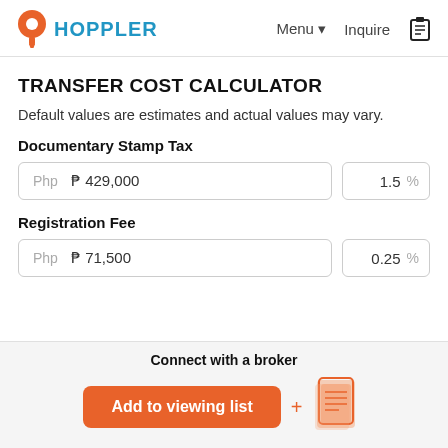HOPPLER  Menu  Inquire
TRANSFER COST CALCULATOR
Default values are estimates and actual values may vary.
Documentary Stamp Tax
Php  ₱ 429,000    1.5  %
Registration Fee
Php  ₱ 71,500    0.25  %
Connect with a broker
Add to viewing list